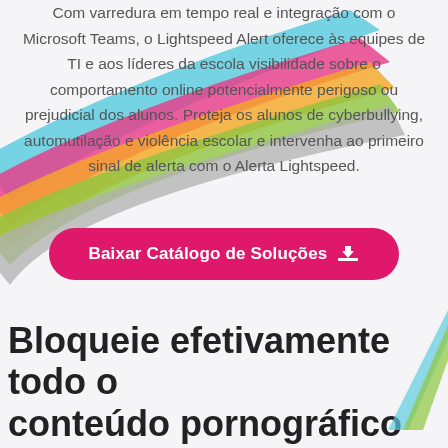Com varredura em tempo real e integração com o Microsoft Teams, o Lightspeed Alert oferece às equipes de TI e aos líderes da escola visibilidade sobre o comportamento online potencialmente perigoso ou prejudicial dos alunos. Proteja os alunos de cyberbullying, automutilação e violência escolar e intervenha ao primeiro sinal de alerta com o Alerta Lightspeed.
[Figure (illustration): Decorative diagonal colored lines (cyan, pink/magenta, orange, green, gray) running diagonally across the background]
Baixar Catálogo de Soluções
Bloqueie efetivamente todo o conteúdo pornográfico
O acesso à pornografia por crianças pode levar à ansiedade